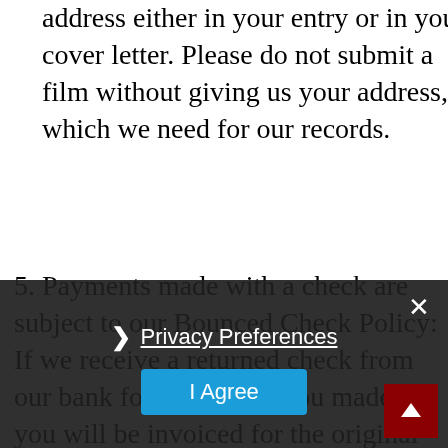address either in your entry or in your cover letter. Please do not submit a film without giving us your address, which we need for our records.
5. Payments made with a check are subject to our Bounced Check Policy: If we receive a returned check from our bank for a payment you made, you will be invoiced for the original amount of the check plus a $25 bounced check fee. The payment of the invoiced amount will be due within 30 days of invoice date. We will not re-submit the original check, nor will we accept another check as payment.